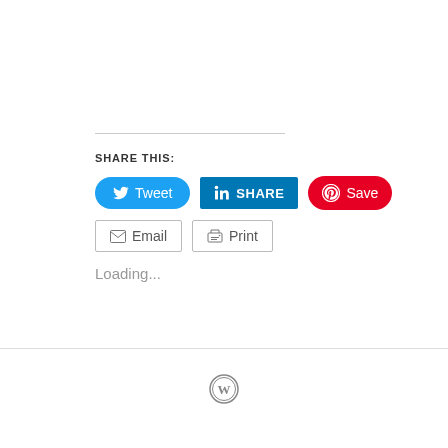SHARE THIS:
[Figure (screenshot): Social share buttons: Tweet (Twitter, blue rounded), SHARE (LinkedIn, blue square), Save (Pinterest, red rounded), Email (grey outlined), Print (grey outlined)]
Loading...
[Figure (logo): WordPress logo mark (circle with W)]